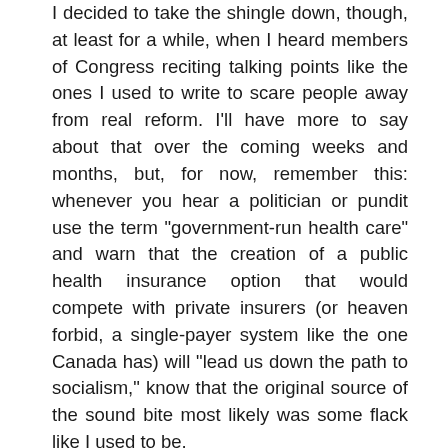I decided to take the shingle down, though, at least for a while, when I heard members of Congress reciting talking points like the ones I used to write to scare people away from real reform. I'll have more to say about that over the coming weeks and months, but, for now, remember this: whenever you hear a politician or pundit use the term "government-run health care" and warn that the creation of a public health insurance option that would compete with private insurers (or heaven forbid, a single-payer system like the one Canada has) will "lead us down the path to socialism," know that the original source of the sound bite most likely was some flack like I used to be.
Bottom line: I ultimately decided the stakes are too high for me to just sit on the sidelines and let the special interests win again. So I have joined forces with thousands of other Americans who are trying to